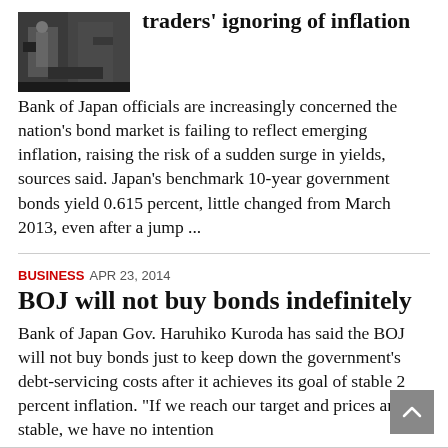[Figure (photo): Small thumbnail photo of traders or financial market scene, dark tones]
traders' ignoring of inflation
Bank of Japan officials are increasingly concerned the nation's bond market is failing to reflect emerging inflation, raising the risk of a sudden surge in yields, sources said. Japan's benchmark 10-year government bonds yield 0.615 percent, little changed from March 2013, even after a jump ...
BUSINESS APR 23, 2014
BOJ will not buy bonds indefinitely
Bank of Japan Gov. Haruhiko Kuroda has said the BOJ will not buy bonds just to keep down the government's debt-servicing costs after it achieves its goal of stable 2 percent inflation. "If we reach our target and prices are stable, we have no intention